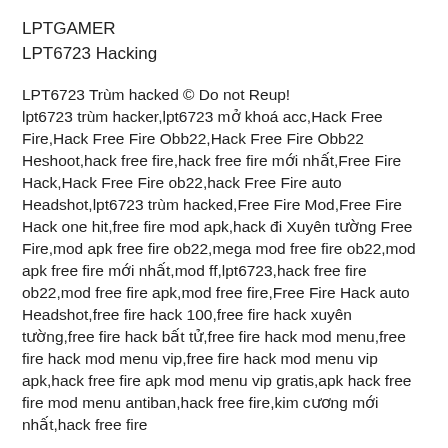LPTGAMER
LPT6723 Hacking
LPT6723 Trùm hacked © Do not Reup! lpt6723 trùm hacker,lpt6723 mở khoá acc,Hack Free Fire,Hack Free Fire Obb22,Hack Free Fire Obb22 Heshoot,hack free fire,hack free fire mới nhất,Free Fire Hack,Hack Free Fire ob22,hack Free Fire auto Headshot,lpt6723 trùm hacked,Free Fire Mod,Free Fire Hack one hit,free fire mod apk,hack đi Xuyên tường Free Fire,mod apk free fire ob22,mega mod free fire ob22,mod apk free fire mới nhất,mod ff,lpt6723,hack free fire ob22,mod free fire apk,mod free fire,Free Fire Hack auto Headshot,free fire hack 100,free fire hack xuyên tường,free fire hack bất tử,free fire hack mod menu,free fire hack mod menu vip,free fire hack mod menu vip apk,hack free fire apk mod menu vip gratis,apk hack free fire mod menu antiban,hack free fire,kim cương mới nhất,hack free fire